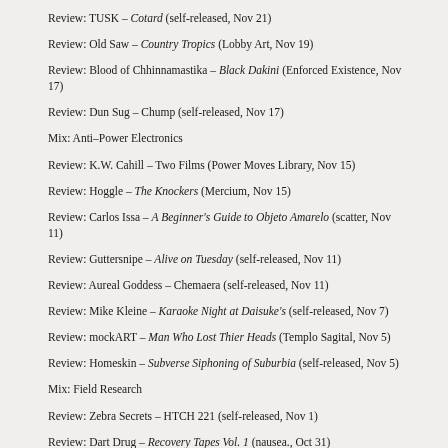Review: TUSK – Cotard (self-released, Nov 21)
Review: Old Saw – Country Tropics (Lobby Art, Nov 19)
Review: Blood of Chhinnamastika – Black Dakini (Enforced Existence, Nov 17)
Review: Dun Sug – Chump (self-released, Nov 17)
Mix: Anti–Power Electronics
Review: K.W. Cahill – Two Films (Power Moves Library, Nov 15)
Review: Hoggle – The Knockers (Mercium, Nov 15)
Review: Carlos Issa – A Beginner's Guide to Objeto Amarelo (scatter, Nov 11)
Review: Guttersnipe – Alive on Tuesday (self-released, Nov 11)
Review: Aureal Goddess – Chemaera (self-released, Nov 11)
Review: Mike Kleine – Karaoke Night at Daisuke's (self-released, Nov 7)
Review: mockART – Man Who Lost Thier Heads (Templo Sagital, Nov 5)
Review: Homeskin – Subverse Siphoning of Suburbia (self-released, Nov 5)
Mix: Field Research
Review: Zebra Secrets – HTCH 221 (self-released, Nov 1)
Review: Dart Drug – Recovery Tapes Vol. 1 (nausea., Oct 31)
Review: ECT – ECT1 (Machine Tribe Recordings, Oct 30)
Review: James Fella & Gabriella Isaac – CCTK Music (Gilgongo, Oct 29)